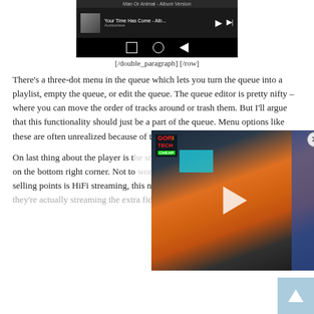[Figure (screenshot): Android music player notification showing 'Your Time Has Come - Alb...' by Audioslave with play and skip controls, and navigation bar at bottom]
[/double_paragraph] [/row]
There’s a three-dot menu in the queue which lets you turn the queue into a playlist, empty the queue, or edit the queue. The queue editor is pretty nifty – where you can move the order of tracks around or trash them. But I’ll argue that this functionality should just be a part of the queue. Menu options like these are often unrealized because of their
On last thing about the player is t on the bottom right corner. Not to selling points is HiFi streaming, this notification tells the user if they’re actually streaming the extra fidelity or not.
[Figure (photo): Overlaid video thumbnail showing electronic device (appears to be Ampeak brand power inverter with orange color) with play button overlay and GorillaTech/CHEAP logo in corner]